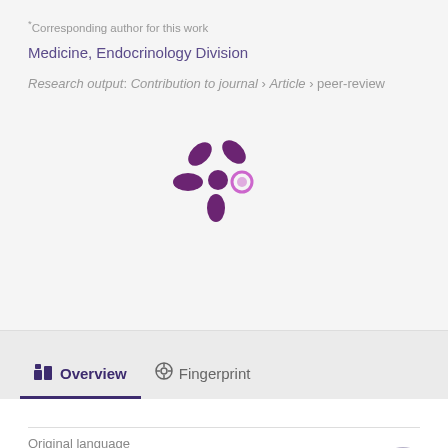*Corresponding author for this work
Medicine, Endocrinology Division
Research output: Contribution to journal › Article › peer-review
[Figure (logo): Altmetric donut-style asterisk logo in dark purple with a pink/purple circle accent]
Overview
Fingerprint
Original language
English (US)